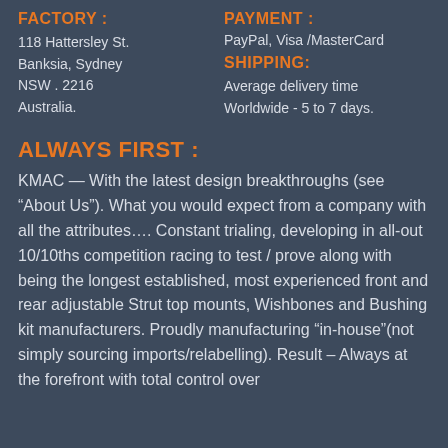FACTORY :
118 Hattersley St.
Banksia, Sydney
NSW . 2216
Australia.
PAYMENT :
PayPal, Visa /MasterCard
SHIPPING:
Average delivery time Worldwide - 5 to 7 days.
ALWAYS FIRST :
KMAC — With the latest design breakthroughs (see “About Us”). What you would expect from a company with all the attributes…. Constant trialing, developing in all-out 10/10ths competition racing to test / prove along with being the longest established, most experienced front and rear adjustable Strut top mounts, Wishbones and Bushing kit manufacturers. Proudly manufacturing “in-house”(not simply sourcing imports/relabelling). Result – Always at the forefront with total control over